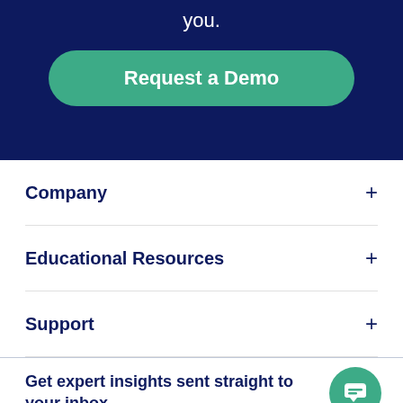you.
Request a Demo
Company
Educational Resources
Support
Get expert insights sent straight to your inbox.